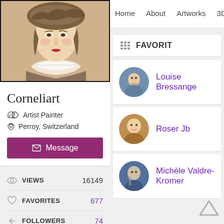[Figure (illustration): Portrait painting of a young woman/girl wearing a hat and ruffled collar, in a classical painterly style.]
Corneliart
Artist Painter
Perroy, Switzerland
Message
Home  About  Artworks  3D  Fav
FAVORITES
[Figure (photo): Circular avatar photo of Louise Bressange, a person with dark hair.]
Louise Bressange
[Figure (photo): Circular avatar photo of Roser Jb, a woman with light hair.]
Roser Jb
[Figure (photo): Circular avatar photo of Michèle Valdre-Kromer, showing a statue in background.]
Michèle Valdre-Kromer
VIEWS  16149
FAVORITES  677
FOLLOWERS  74
FOLLOWING  43